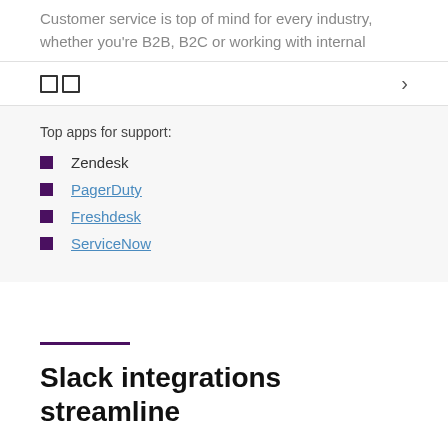Customer service is top of mind for every industry, whether you're B2B, B2C or working with internal
Top apps for support:
Zendesk
PagerDuty
Freshdesk
ServiceNow
Slack integrations streamline